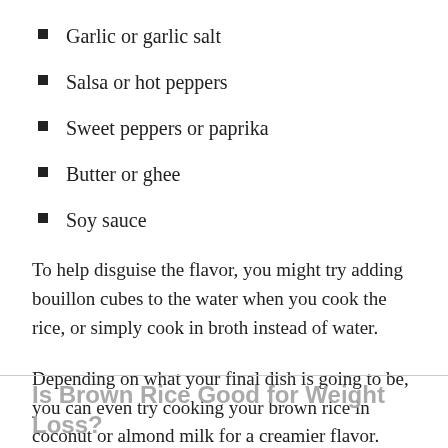Garlic or garlic salt
Salsa or hot peppers
Sweet peppers or paprika
Butter or ghee
Soy sauce
To help disguise the flavor, you might try adding bouillon cubes to the water when you cook the rice, or simply cook in broth instead of water.
Depending on what your final dish is going to be, you can even try cooking your brown rice in coconut or almond milk for a creamier flavor.
Is Brown Rice Good for Weight Loss?